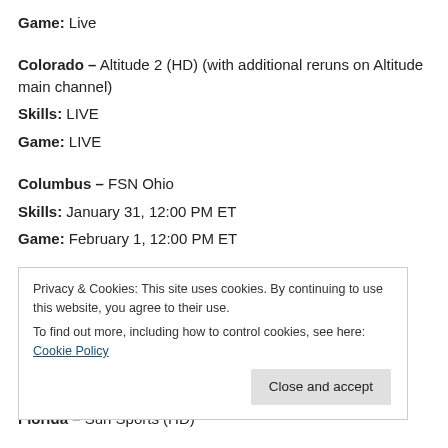Game: Live
Colorado – Altitude 2 (HD) (with additional reruns on Altitude main channel)
Skills: LIVE
Game: LIVE
Columbus – FSN Ohio
Skills: January 31, 12:00 PM ET
Game: February 1, 12:00 PM ET
Dallas – FSN Southwest/FSN Houston
Privacy & Cookies: This site uses cookies. By continuing to use this website, you agree to their use.
To find out more, including how to control cookies, see here: Cookie Policy
Florida – Sun Sports (HD)